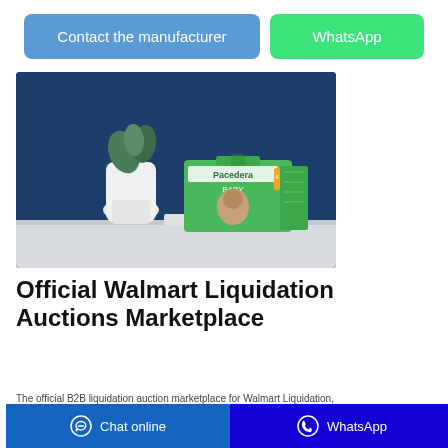[Figure (other): Two buttons: 'Contact the manufacturer' (blue) and 'WhatsApp' (green)]
[Figure (photo): Product photo: a green baby diaper box (Pacedera brand) on a white shelf against a dark blue wall, with a white vase and plant in the background.]
Official Walmart Liquidation Auctions Marketplace
The official B2B liquidation auction marketplace for Walmart Liquidation, offering bulk lots
[Figure (other): Bottom navigation bar with 'Chat online' (dark blue, left) and 'WhatsApp' (dark blue/indigo, right) buttons with icons]